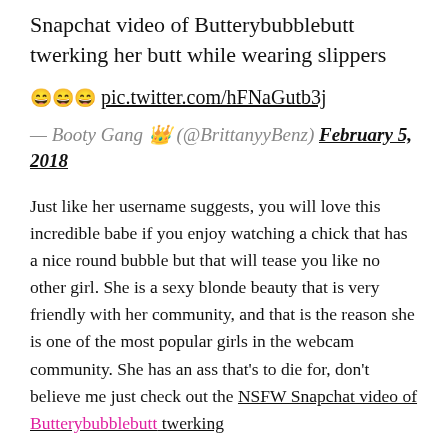Snapchat video of Butterybubblebutt twerking her butt while wearing slippers
😄😄😄 pic.twitter.com/hFNaGutb3j
— Booty Gang 👑 (@BrittanyyBenz) February 5, 2018
Just like her username suggests, you will love this incredible babe if you enjoy watching a chick that has a nice round bubble but that will tease you like no other girl. She is a sexy blonde beauty that is very friendly with her community, and that is the reason she is one of the most popular girls in the webcam community. She has an ass that's to die for, don't believe me just check out the NSFW Snapchat video of Butterybubblebutt twerking